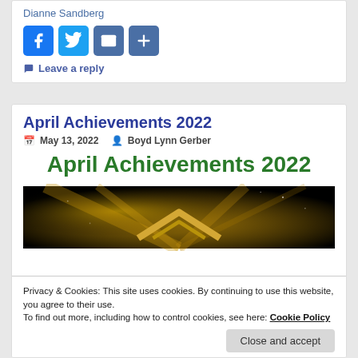Dianne Sandberg
[Figure (infographic): Social share buttons: Facebook, Twitter, Email, Share (plus icon)]
Leave a reply
April Achievements 2022
May 13, 2022   Boyd Lynn Gerber
April Achievements 2022
[Figure (photo): Dark background with golden light rays and a gold chevron/arrow shape]
Privacy & Cookies: This site uses cookies. By continuing to use this website, you agree to their use.
To find out more, including how to control cookies, see here: Cookie Policy
Close and accept